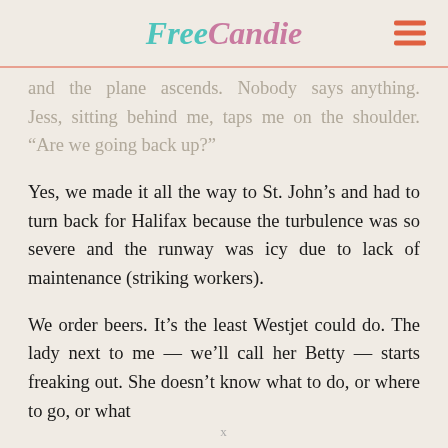FreeCandie
and the plane ascends. Nobody says anything. Jess, sitting behind me, taps me on the shoulder. “Are we going back up?”
Yes, we made it all the way to St. John’s and had to turn back for Halifax because the turbulence was so severe and the runway was icy due to lack of maintenance (striking workers).
We order beers. It’s the least Westjet could do. The lady next to me — we’ll call her Betty — starts freaking out. She doesn’t know what to do, or where to go, or what
x